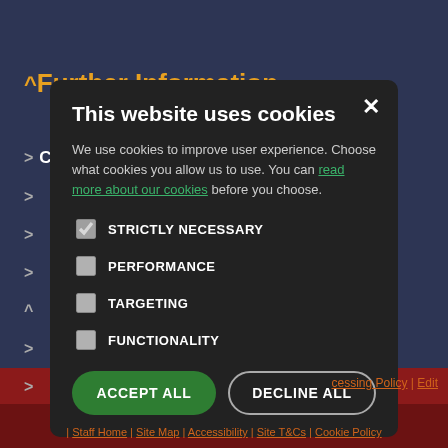^ Further Information
> Carers Direct
>
>
>
^
>
>
[Figure (screenshot): Cookie consent modal dialog on a dark background. Title: 'This website uses cookies'. Body text: 'We use cookies to improve user experience. Choose what cookies you allow us to use. You can read more about our cookies before you choose.' Checkboxes for: STRICTLY NECESSARY (checked), PERFORMANCE, TARGETING, FUNCTIONALITY. Two buttons: ACCEPT ALL (green) and DECLINE ALL (outlined).]
C ... cessing Policy | Edit
| Staff Home | Site Map | Accessibility | Site T&Cs | Cookie Policy